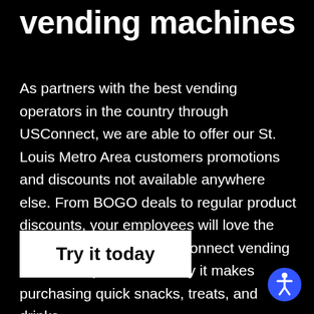vending machines
As partners with the best vending operators in the country through USConnect, we are able to offer our St. Louis Metro Area customers promotions and discounts not available anywhere else. From BOGO deals to regular product discounts, your employees will love the additional benefits of USConnect vending membership and how easy it makes purchasing quick snacks, treats, and drinks.
[Figure (other): White rectangle button with bold black text 'Try it today']
[Figure (other): Blue circular accessibility icon with white person figure in center, located bottom right corner]